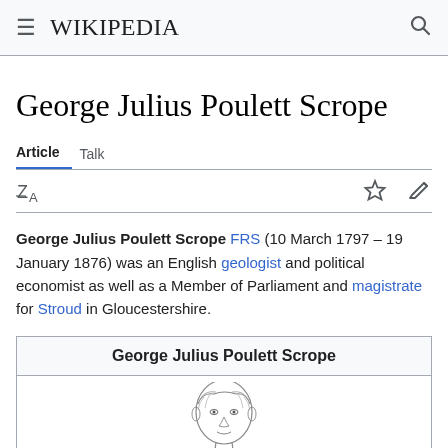Wikipedia
George Julius Poulett Scrope
Article  Talk
George Julius Poulett Scrope FRS (10 March 1797 – 19 January 1876) was an English geologist and political economist as well as a Member of Parliament and magistrate for Stroud in Gloucestershire.
| George Julius Poulett Scrope |
| --- |
| [portrait illustration] |